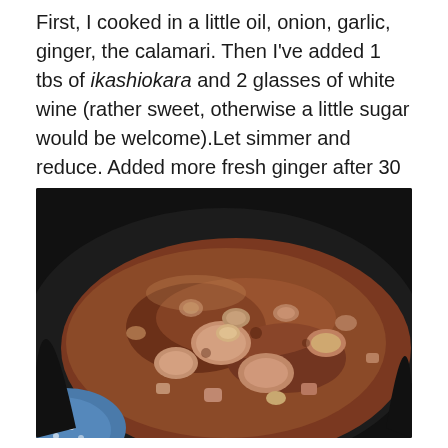First, I cooked in a little oil, onion, garlic, ginger, the calamari. Then I've added 1 tbs of ikashiokara and 2 glasses of white wine (rather sweet, otherwise a little sugar would be welcome).Let simmer and reduce. Added more fresh ginger after 30 minutes.
[Figure (photo): A close-up photo of a braised calamari dish with chunks of squid, mushrooms, and other ingredients simmering in a dark reddish-brown sauce in a black pan. A decorative blue plate with floral pattern is visible in the lower left corner.]